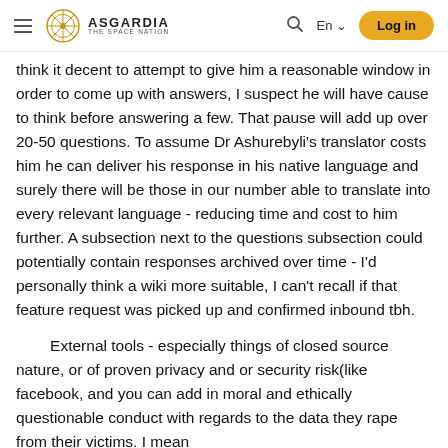ASGARDIA THE SPACE NATION | En | Log in
think it decent to attempt to give him a reasonable window in order to come up with answers, I suspect he will have cause to think before answering a few. That pause will add up over 20-50 questions. To assume Dr Ashurebyli's translator costs him he can deliver his response in his native language and surely there will be those in our number able to translate into every relevant language - reducing time and cost to him further. A subsection next to the questions subsection could potentially contain responses archived over time - I'd personally think a wiki more suitable, I can't recall if that feature request was picked up and confirmed inbound tbh.
External tools - especially things of closed source nature, or of proven privacy and or security risk(like facebook, and you can add in moral and ethically questionable conduct with regards to the data they rape from their victims. I mean